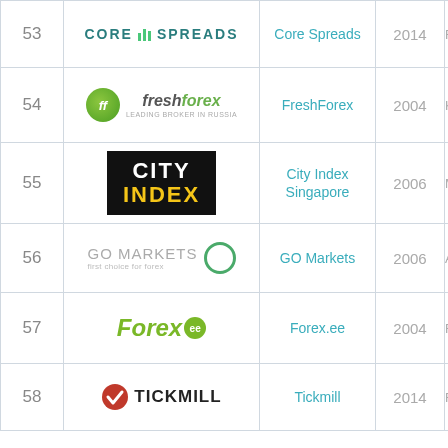| # | Logo | Name | Year | Reg |
| --- | --- | --- | --- | --- |
| 53 | Core Spreads | Core Spreads | 2014 | F |
| 54 | FreshForex | FreshForex | 2004 | KR |
| 55 | City Index | City Index Singapore | 2006 | M |
| 56 | GO Markets | GO Markets | 2006 | A |
| 57 | Forex.ee | Forex.ee | 2004 | F |
| 58 | Tickmill | Tickmill | 2014 | FCA |